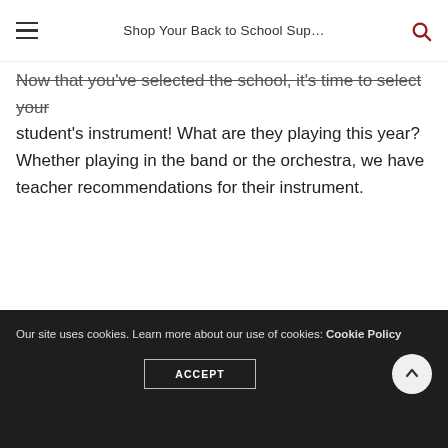Shop Your Back to School Sup…
Now that you've selected the school, it's time to select your student's instrument! What are they playing this year? Whether playing in the band or the orchestra, we have teacher recommendations for their instrument.
Our site uses cookies. Learn more about our use of cookies: Cookie Policy
ACCEPT